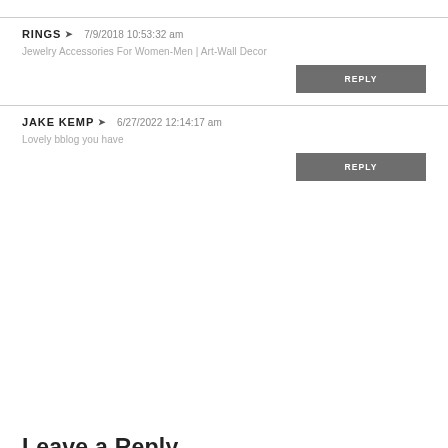RINGS ➤ 7/9/2018 10:53:32 am
Jewelry Accessories For Women-Men | Art-Wall Decor
REPLY
JAKE KEMP ➤ 6/27/2022 12:14:17 am
Lovely bblog you have
REPLY
Leave a Reply